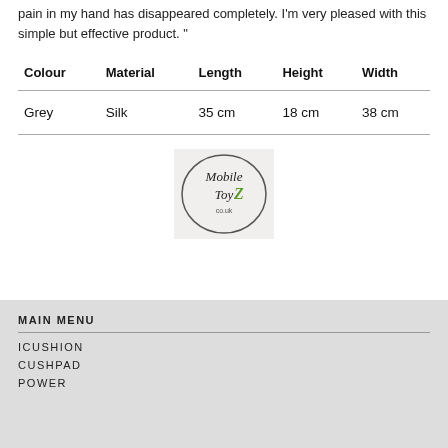pain in my hand has disappeared completely. I'm very pleased with this simple but effective product. "
| Colour | Material | Length | Height | Width |
| --- | --- | --- | --- | --- |
| Grey | Silk | 35 cm | 18 cm | 38 cm |
[Figure (logo): Mobile ToyZ co.uk logo inside a circle]
MAIN MENU
ICUSHION
CUSHPAD
POWER